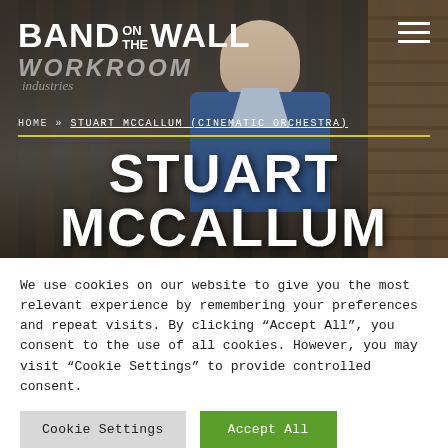[Figure (screenshot): Band on the Wall website hero image showing a young man standing in front of a storefront with 'Workroom Industries' visible. The Band on the Wall logo is in the top left, a hamburger menu icon is top right. Breadcrumb navigation reads HOME » STUART MCCALLUM (CINEMATIC ORCHESTRA). Large text 'STUART MCCALLUM' appears at the bottom of the hero image.]
BAND ON THE WALL
HOME » STUART MCCALLUM (CINEMATIC ORCHESTRA)
STUART MCCALLUM
We use cookies on our website to give you the most relevant experience by remembering your preferences and repeat visits. By clicking "Accept All", you consent to the use of all cookies. However, you may visit "Cookie Settings" to provide controlled consent.
Cookie Settings | Accept All